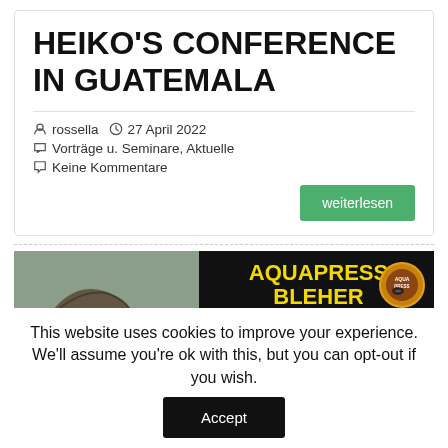HEIKO'S CONFERENCE IN GUATEMALA
rossella   27 April 2022   Vorträge u. Seminare, Aktuelle   Keine Kommentare
weiterlesen
[Figure (screenshot): Banner image showing a man in a hat on the left (muted background), and on the right a black banner with yellow text reading AQUAPRESS BLEHER and a yellow strip at the bottom reading • PECES DISCO SALVAJES Y, with a circular logo on the right side.]
This website uses cookies to improve your experience. We'll assume you're ok with this, but you can opt-out if you wish.
Accept